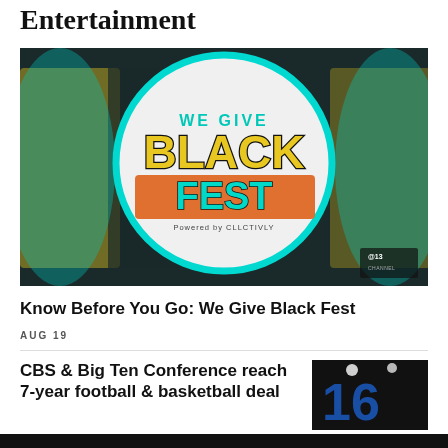Entertainment
[Figure (photo): We Give Black Fest logo — a circular teal-bordered logo on a blurred background showing large yellow block letters BL and CK. The circle contains the text 'WE GIVE' in teal, 'BLACK' in yellow with black outline, 'FEST' in teal on an orange banner, and 'Powered by CLLCTIVLY' in small text. A CBS 13 logo is in the bottom-right corner.]
Know Before You Go: We Give Black Fest
AUG 19
CBS & Big Ten Conference reach 7-year football & basketball deal
[Figure (photo): Dark photo showing large blue letters partially visible, appearing to be a Big Ten Conference backdrop/signage under arena lighting.]
AUG 18